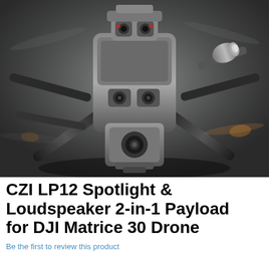[Figure (photo): Close-up photograph of a DJI Matrice 30 drone with CZI LP12 Spotlight and Loudspeaker 2-in-1 payload attached underneath. The drone is shown from below-front angle against a dark grey background, showing multiple propeller arms, camera gimbals, sensors, and the spotlight/loudspeaker attachment. The payload appears as a cylindrical silver spotlight on the right arm and a boxy camera module mounted beneath the body.]
CZI LP12 Spotlight & Loudspeaker 2-in-1 Payload for DJI Matrice 30 Drone
Be the first to review this product